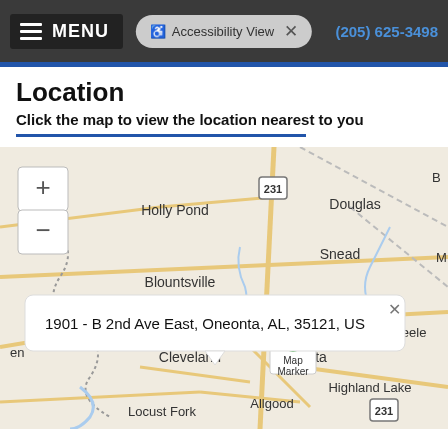MENU | Accessibility View | (205) 625-3498
Location
Click the map to view the location nearest to you
[Figure (map): Street/road map showing Holly Pond, Douglas, Snead, Blountsville, Cleveland, Oneonta, Steele, Locust Fork, Allgood, Highland Lake areas in Alabama with US-231 route marked. A map marker pin is placed at Oneonta with a popup tooltip.]
1901 - B 2nd Ave East, Oneonta, AL, 35121, US